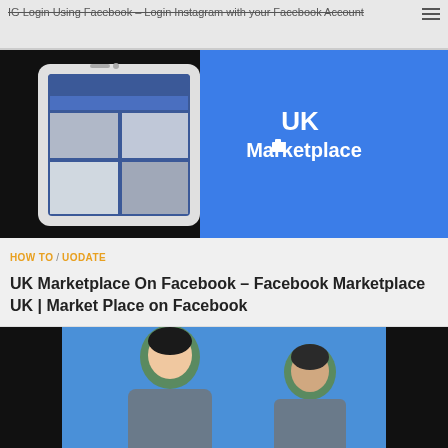IG Login Using Facebook – Login Instagram with your Facebook Account
[Figure (screenshot): UK Marketplace Facebook app screenshot on phone showing a blue background with text 'UK Marketplace' and a smartphone with the Facebook app open]
HOW TO / UODATE
UK Marketplace On Facebook – Facebook Marketplace UK | Market Place on Facebook
[Figure (illustration): Two 3D animated cartoon character avatars on a blue background, one looking up and one facing forward, both wearing gray jackets]